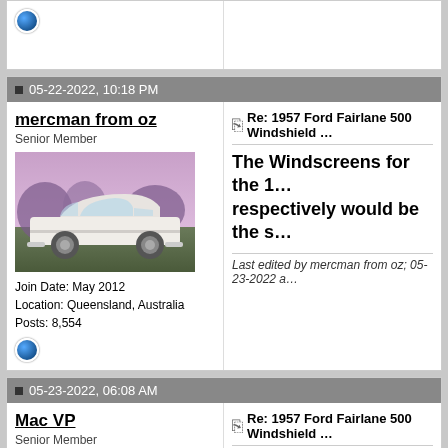05-22-2022, 10:18 PM
mercman from oz
Senior Member
Join Date: May 2012
Location: Queensland, Australia
Posts: 8,554
Re: 1957 Ford Fairlane 500 Windshield
The Windscreens for the 1... respectively would be the s...
Last edited by mercman from oz; 05-23-2022 a...
05-23-2022, 06:08 AM
Mac VP
Senior Member
Re: 1957 Ford Fairlane 500 Windshield
I suspect the front windshield glass is c... that the rear glass is different. My 17 y...
VANPELT SALES LLC